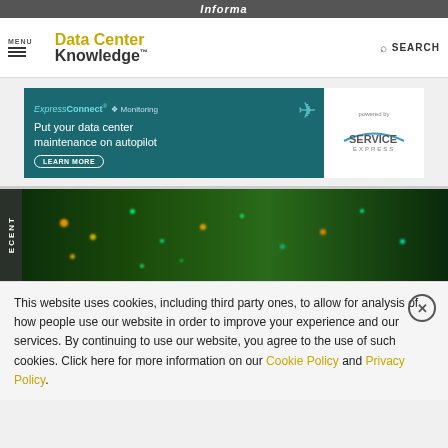Informa
[Figure (logo): Data Center Knowledge logo with MENU hamburger and SEARCH icon in navigation bar]
[Figure (screenshot): ExpressConnect Monitoring advertisement banner - Put your data center maintenance on autopilot - LEARN MORE button, powered by Service Express]
[Figure (photo): Data center server rack with green and yellow LED lights in a dark environment, with a vertical sidebar label reading ECENT]
This website uses cookies, including third party ones, to allow for analysis of how people use our website in order to improve your experience and our services. By continuing to use our website, you agree to the use of such cookies. Click here for more information on our Cookie Policy and Privacy Policy.